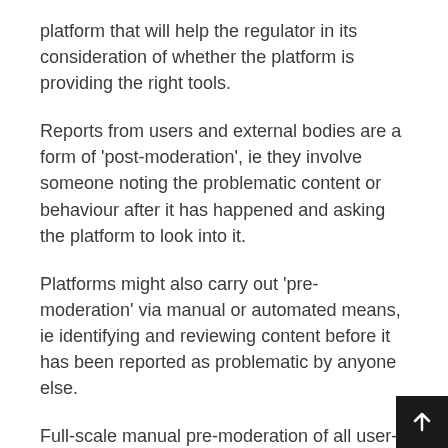platform that will help the regulator in its consideration of whether the platform is providing the right tools.
Reports from users and external bodies are a form of 'post-moderation', ie they involve someone noting the problematic content or behaviour after it has happened and asking the platform to look into it.
Platforms might also carry out 'pre-moderation' via manual or automated means, ie identifying and reviewing content before it has been reported as problematic by anyone else.
Full-scale manual pre-moderation of all user-generated content on a platform has generally been seen as unfeasible – the volume of user-generated content is simply too high to look at everything – and this remains true.